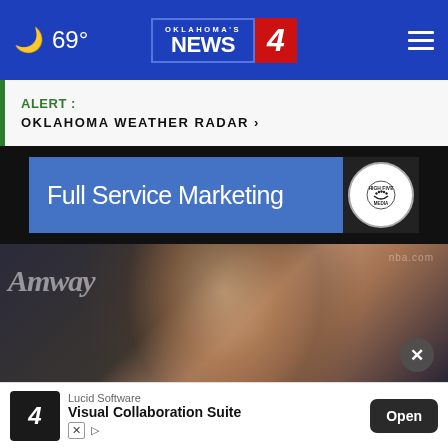69° Oklahoma's News 4
ALERT: OKLAHOMA WEATHER RADAR >
[Figure (screenshot): Full Service Marketing advertisement banner with High Five Media logo]
[Figure (photo): Blurred photo of a man at an Amway press conference]
[Figure (screenshot): Lucid Software - Visual Collaboration Suite mobile ad with Open button]